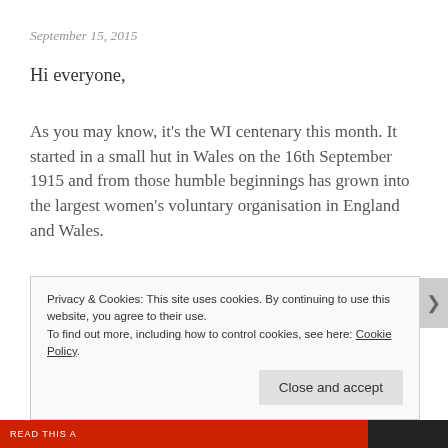September 15, 2015
Hi everyone,
As you may know, it's the WI centenary this month. It started in a small hut in Wales on the 16th September 1915 and from those humble beginnings has grown into the largest women's voluntary organisation in England and Wales.
So to celebrate a hundred years of amazing WI women, our September meeting is a fancy dress centenary party. Since it's fancy dress, we'd like you to come dressed in any fashion from the last hundred years (if dressing up is not
Privacy & Cookies: This site uses cookies. By continuing to use this website, you agree to their use.
To find out more, including how to control cookies, see here: Cookie Policy
Close and accept